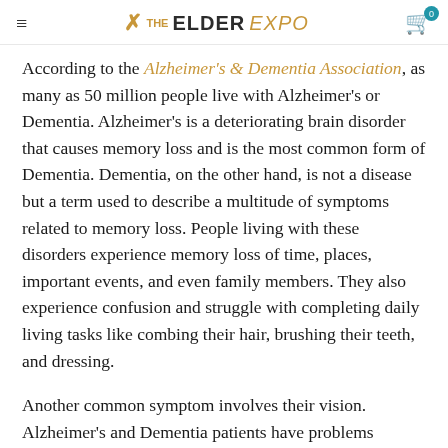THE ELDER EXPO
According to the Alzheimer's & Dementia Association, as many as 50 million people live with Alzheimer's or Dementia. Alzheimer's is a deteriorating brain disorder that causes memory loss and is the most common form of Dementia. Dementia, on the other hand, is not a disease but a term used to describe a multitude of symptoms related to memory loss. People living with these disorders experience memory loss of time, places, important events, and even family members. They also experience confusion and struggle with completing daily living tasks like combing their hair, brushing their teeth, and dressing.
Another common symptom involves their vision. Alzheimer's and Dementia patients have problems